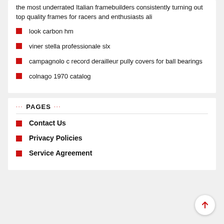the most underrated Italian framebuilders consistently turning out top quality frames for racers and enthusiasts ali
look carbon hm
viner stella professionale slx
campagnolo c record derailleur pully covers for ball bearings
colnago 1970 catalog
··· PAGES ···
Contact Us
Privacy Policies
Service Agreement